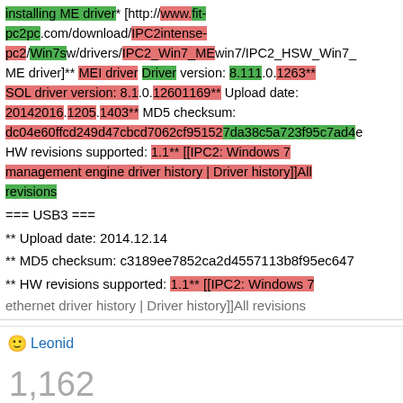installing ME driver* [http://www.fit-pc2pc.com/download/IPC2intense-pc2/Win7sw/drivers/IPC2_Win7_MEwin7/IPC2_HSW_Win7_ME driver]** MEI driver Driver version: 8.111.0.1263** SOL driver version: 8.1.0.12601169** Upload date: 20142016.1205.1403** MD5 checksum: dc04e60ffcd249d47cbcd7062cf951527da38c5a723f95c7ad4e** HW revisions supported: 1.1** [[IPC2: Windows 7 management engine driver history | Driver history]]All revisions
=== USB3 ===
** Upload date: 2014.12.14
** MD5 checksum: c3189ee7852ca2d4557113b8f95ec647
** HW revisions supported: 1.1** [[IPC2: Windows 7
ethernet driver history | Driver history]]All revisions
Leonid
1,162
EDITS